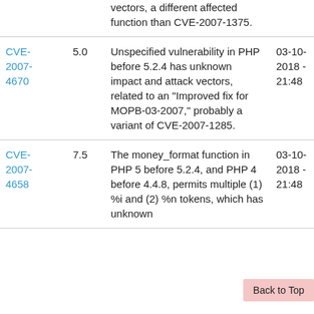| CVE | Score | Description | Modified | Published |
| --- | --- | --- | --- | --- |
| (continuation) |  | vectors, a different affected function than CVE-2007-1375. |  |  |
| CVE-2007-4670 | 5.0 | Unspecified vulnerability in PHP before 5.2.4 has unknown impact and attack vectors, related to an "Improved fix for MOPB-03-2007," probably a variant of CVE-2007-1285. | 03-10-2018 - 21:48 | 05-09-2007 - 00:17 |
| CVE-2007-4658 | 7.5 | The money_format function in PHP 5 before 5.2.4, and PHP 4 before 4.4.8, permits multiple (1) %i and (2) %n tokens, which has unknown | 03-10-2018 - 21:48 | 04-09-2007 - 22:17 |